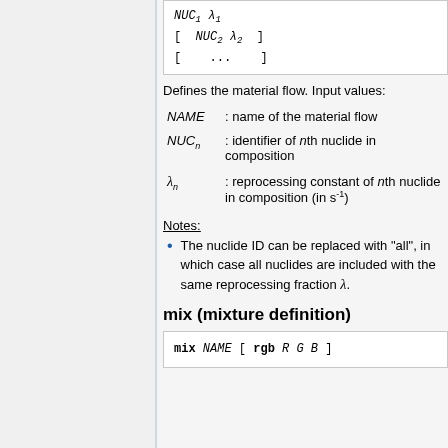Defines the material flow. Input values:
NAME : name of the material flow
NUC_n : identifier of nth nuclide in composition
lambda_n : reprocessing constant of nth nuclide in composition (in s^-1)
Notes:
The nuclide ID can be replaced with "all", in which case all nuclides are included with the same reprocessing fraction λ.
mix (mixture definition)